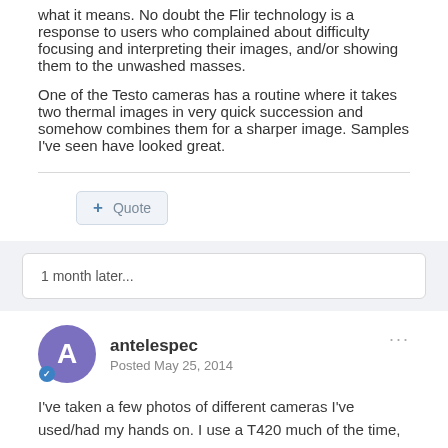what it means. No doubt the Flir technology is a response to users who complained about difficulty focusing and interpreting their images, and/or showing them to the unwashed masses.
One of the Testo cameras has a routine where it takes two thermal images in very quick succession and somehow combines them for a sharper image. Samples I've seen have looked great.
+ Quote
1 month later...
antelespec
Posted May 25, 2014
I've taken a few photos of different cameras I've used/had my hands on. I use a T420 much of the time, but have an E series for a back up.